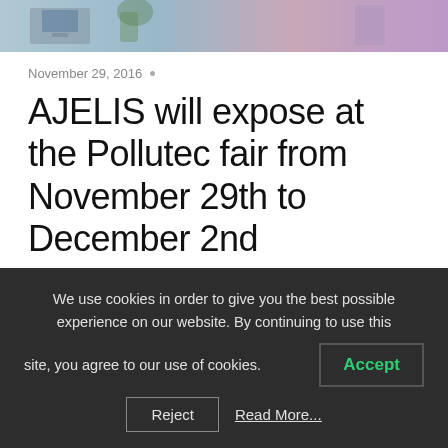[Figure (photo): Hero image showing an office/workspace scene with a monitor and plants, with purple/pink background elements]
November 29, 2016 •
AJELIS will expose at the Pollutec fair from November 29th to December 2nd
(international exhibition of environmental equipment technologies and services) from November 29th to
We use cookies in order to give you the best possible experience on our website. By continuing to use this site, you agree to our use of cookies.
Accept
Reject
Read More...